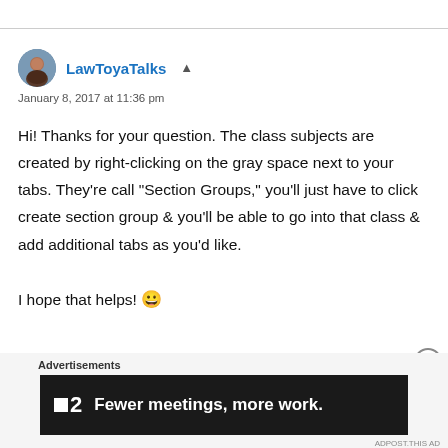LawToyaTalks
January 8, 2017 at 11:36 pm
Hi! Thanks for your question. The class subjects are created by right-clicking on the gray space next to your tabs. They’re call “Section Groups,” you’ll just have to click create section group & you’ll be able to go into that class & add additional tabs as you’d like.

I hope that helps! 😀
Advertisements
[Figure (screenshot): Advertisement banner: dark background with a small white square logo, number 2, and text 'Fewer meetings, more work.']